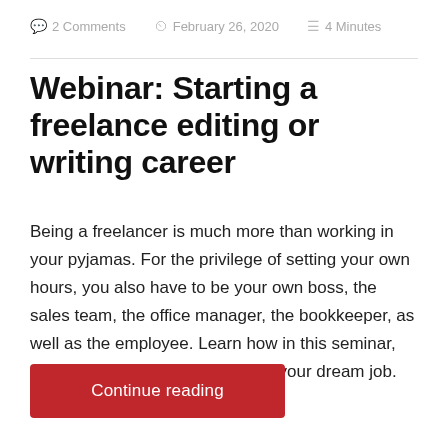2 Comments   February 26, 2020   4 Minutes
Webinar: Starting a freelance editing or writing career
Being a freelancer is much more than working in your pyjamas. For the privilege of setting your own hours, you also have to be your own boss, the sales team, the office manager, the bookkeeper, as well as the employee. Learn how in this seminar, which outlines the basic steps to your dream job. Part 1: …
Continue reading